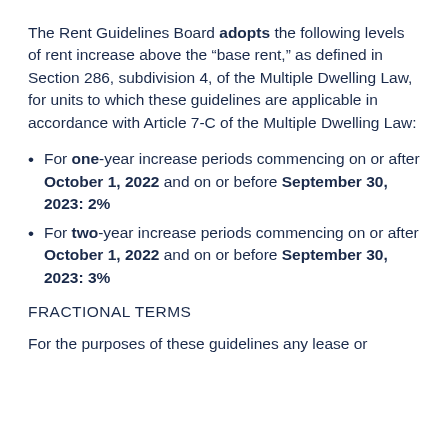The Rent Guidelines Board adopts the following levels of rent increase above the “base rent,” as defined in Section 286, subdivision 4, of the Multiple Dwelling Law, for units to which these guidelines are applicable in accordance with Article 7-C of the Multiple Dwelling Law:
For one-year increase periods commencing on or after October 1, 2022 and on or before September 30, 2023: 2%
For two-year increase periods commencing on or after October 1, 2022 and on or before September 30, 2023: 3%
FRACTIONAL TERMS
For the purposes of these guidelines any lease or